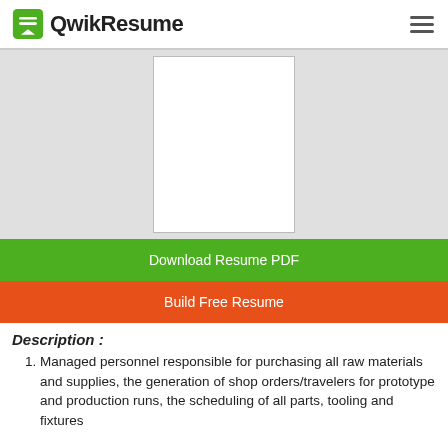QwikResume
[Figure (other): Blank resume preview thumbnail showing a white document with border]
Download Resume PDF
Build Free Resume
Description :
Managed personnel responsible for purchasing all raw materials and supplies, the generation of shop orders/travelers for prototype and production runs, the scheduling of all parts, tooling and fixtures...